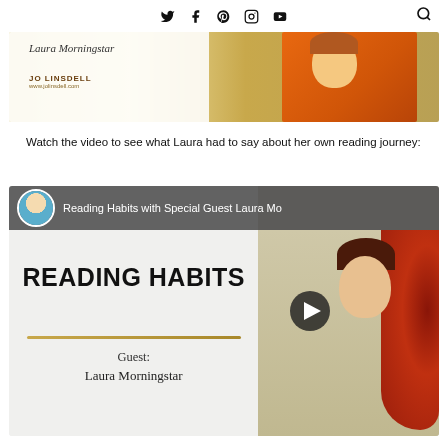Social media icons: Twitter, Facebook, Pinterest, Instagram, YouTube, Search
[Figure (photo): Banner image for Jo Linsdell blog featuring Laura Morningstar with gold glitter background and woman in orange top]
Watch the video to see what Laura had to say about her own reading journey:
[Figure (screenshot): YouTube video thumbnail: Reading Habits with Special Guest Laura Morningstar. Shows title 'READING HABITS' with guest avatar, gold divider line, and text 'Guest: Laura Morningstar'. Right side shows woman with red hair and play button.]